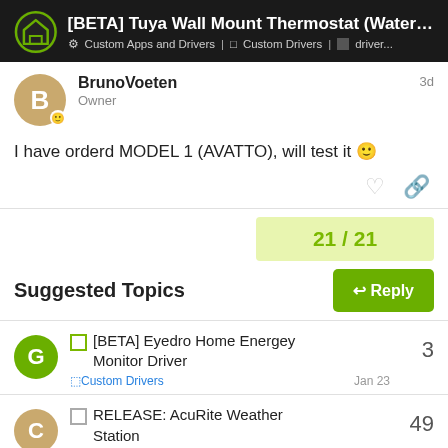[BETA] Tuya Wall Mount Thermostat (Water/Elec... | Custom Apps and Drivers | Custom Drivers | driver...
BrunoVoeten
Owner
3d
I have orderd MODEL 1 (AVATTO), will test it 🙂
21 / 21
Reply
Suggested Topics
[BETA] Eyedro Home Energey Monitor Driver
Custom Drivers
3
Jan 23
RELEASE: AcuRite Weather Station
49